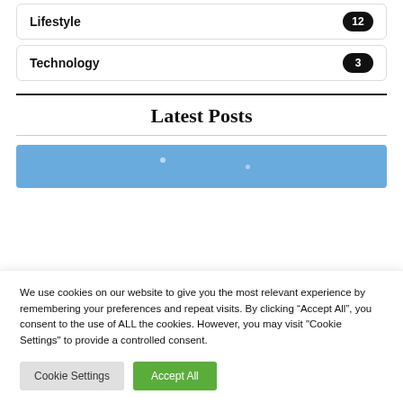Lifestyle 12
Technology 3
Latest Posts
[Figure (photo): Blue decorative image bar with subtle white bokeh dots]
We use cookies on our website to give you the most relevant experience by remembering your preferences and repeat visits. By clicking “Accept All”, you consent to the use of ALL the cookies. However, you may visit "Cookie Settings" to provide a controlled consent.
Cookie Settings | Accept All